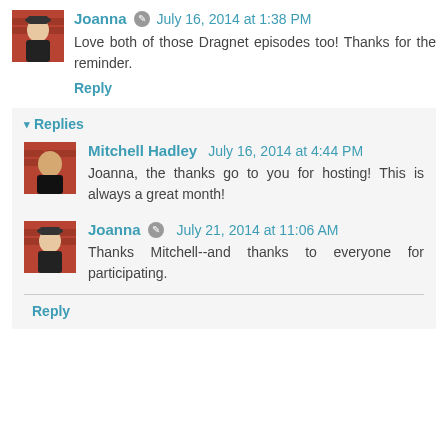Joanna · July 16, 2014 at 1:38 PM
Love both of those Dragnet episodes too! Thanks for the reminder.
Reply
▾ Replies
Mitchell Hadley  July 16, 2014 at 4:44 PM
Joanna, the thanks go to you for hosting! This is always a great month!
Joanna · July 21, 2014 at 11:06 AM
Thanks Mitchell--and thanks to everyone for participating.
Reply